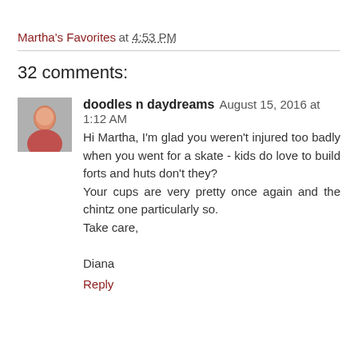Martha's Favorites at 4:53 PM
32 comments:
doodles n daydreams August 15, 2016 at 1:12 AM
Hi Martha, I'm glad you weren't injured too badly when you went for a skate - kids do love to build forts and huts don't they?
Your cups are very pretty once again and the chintz one particularly so.
Take care,

Diana
Reply